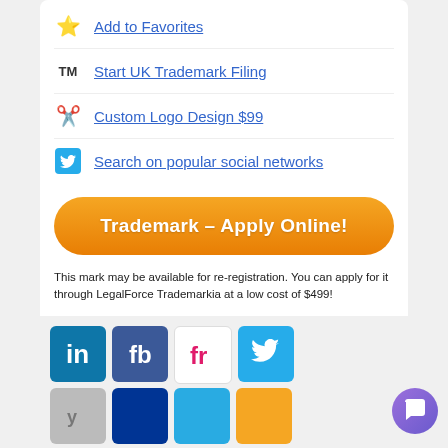Add to Favorites
Start UK Trademark Filing
Custom Logo Design $99
Search on popular social networks
[Figure (other): Orange rounded button: Trademark - Apply Online!]
This mark may be available for re-registration. You can apply for it through LegalForce Trademarkia at a low cost of $499!
Trademarkia.com will perform a final search in order to verify that this mark is available for United Kingdom Trademark re-registration. All Trademarkia services are backed by a 100% satisfaction guarantee.
[Figure (other): Social media icons grid: LinkedIn, Facebook, Freelancer, Twitter, and others plus a chat bubble button]